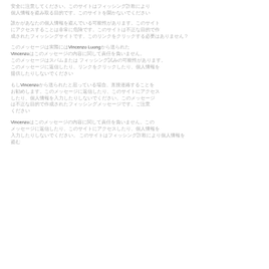[CJK text paragraph 1 - partial line visible at top]
[CJK text paragraph 2 - three lines with question mark at end]
[CJK text paragraph 3 - containing 'Vincenzo Luong' and 'Vincenzo' in Latin, multiple lines]
[CJK text paragraph 4 - containing 'Vincenzo' in Latin, multiple lines]
[CJK text paragraph 5 - starting with 'Vincenzo' in Latin, multiple lines]